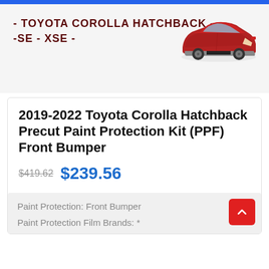- TOYOTA COROLLA HATCHBACK - -SE - XSE -
[Figure (illustration): Red Toyota Corolla Hatchback car viewed from front-right angle]
2019-2022 Toyota Corolla Hatchback Precut Paint Protection Kit (PPF) Front Bumper
$419.62  $239.56
Paint Protection: Front Bumper
Paint Protection Film Brands: *